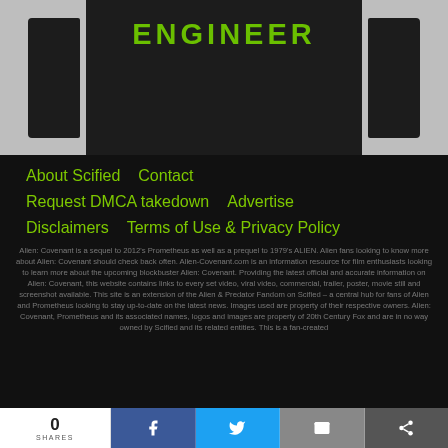[Figure (photo): Dark sweatshirt with ENGINEER text in green on dark background, shown with sleeves on grey background]
About Scified
Contact
Request DMCA takedown
Advertise
Disclaimers
Terms of Use & Privacy Policy
Alien: Covenant is a sequel to 2012's Prometheus as well as a prequel to 1979's ALIEN. Alien fans looking to know more about Alien: Covenant should check back often. Alien-Covenant.com is an information resource for film enthusiasts looking to learn more about the upcoming blockbuster Alien: Covenant. Providing the latest official and accurate information on Alien: Covenant, this website contains links to every set video, viral video, commercial, trailer, poster, movie still and screenshot available. This site is an extension of the Alien & Predator Fandom on Scified – a central hub for fans of Alien and Prometheus looking to stay up-to-date on the latest news. Images used are property of their respective owners. Alien: Covenant, Prometheus and its associated names, logos and images are property of 20th Century Fox and are in no way owned by Scified and its related entities. This is a fan-created
0 SHARES